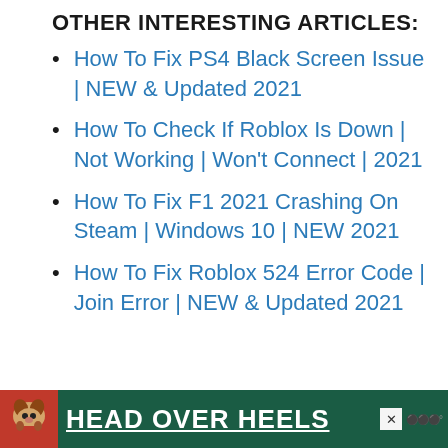OTHER INTERESTING ARTICLES:
How To Fix PS4 Black Screen Issue | NEW & Updated 2021
How To Check If Roblox Is Down | Not Working | Won't Connect | 2021
How To Fix F1 2021 Crashing On Steam | Windows 10 | NEW 2021
How To Fix Roblox 524 Error Code | Join Error | NEW & Updated 2021
[Figure (infographic): Advertisement banner with dog image and text HEAD OVER HEELS on dark green background]